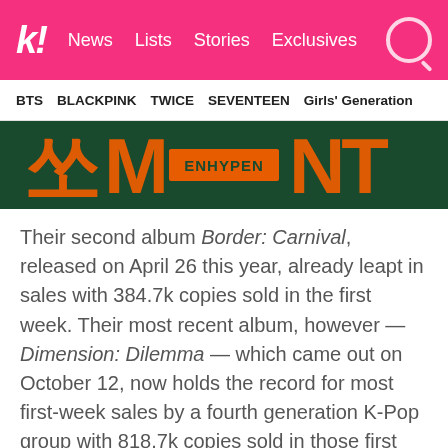k! News Lists Stories Exclusives
BTS  BLACKPINK  TWICE  SEVENTEEN  Girls' Generation
[Figure (photo): ENHYPEN album art — dark green background with large orange stylized Korean/Latin lettering and 'ENHYPEN' text in orange on a banner in the center]
Their second album Border: Carnival, released on April 26 this year, already leapt in sales with 384.7k copies sold in the first week. Their most recent album, however — Dimension: Dilemma — which came out on October 12, now holds the record for most first-week sales by a fourth generation K-Pop group with 818.7k copies sold in those first seven days!
6. Stray Kids